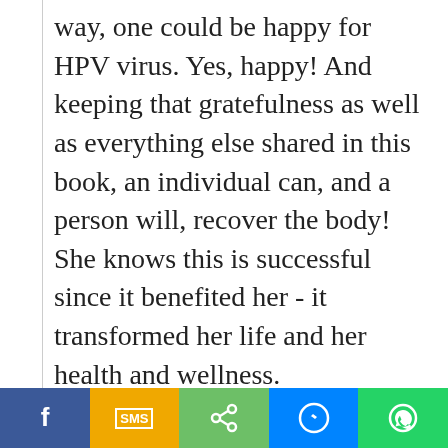way, one could be happy for HPV virus. Yes, happy! And keeping that gratefulness as well as everything else shared in this book, an individual can, and a person will, recover the body! She knows this is successful since it benefited her - it transformed her life and her health and wellness.
Highly suggest reading this publication! So pleased I found this, as there is an overload of blended information on the HPV virus on the net. You could drive yourself crazy searching for the solutions.
[Figure (infographic): Social sharing bar with five buttons: Facebook (blue), SMS (yellow/orange), Share (green), Messenger (blue), WhatsApp (green)]